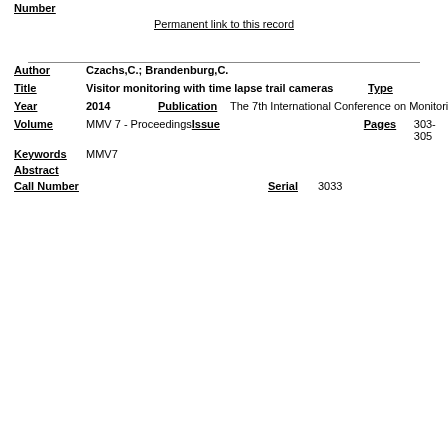Number
Permanent link to this record
| Field | Value | Field2 | Value2 | Field3 | Value3 |
| --- | --- | --- | --- | --- | --- |
| Author | Czachs,C.; Brandenburg,C. |  |  |  |  |
| Title | Visitor monitoring with time lapse trail cameras |  |  | Type |  |
| Year | 2014 | Publication | The 7th International Conference on Monitoring and Management of Visitors in Recreational and Protected Areas: Local Community and Outdoor Recreation | Abbreviated Journal |  |
| Volume | MMV 7 - Proceedings | Issue |  | Pages | 303-305 |
| Keywords | MMV7 |  |  |  |  |
| Abstract |  |  |  |  |  |
| Call Number |  |  |  | Serial | 3033 |